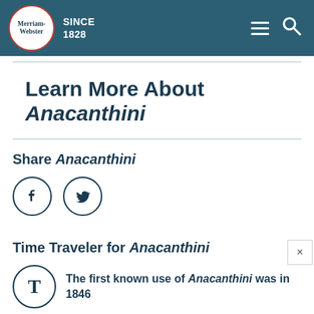Merriam-Webster SINCE 1828
Learn More About Anacanthini
Share Anacanthini
[Figure (illustration): Facebook and Twitter share buttons as circular icons with f and bird logos]
Time Traveler for Anacanthini
The first known use of Anacanthini was in 1846